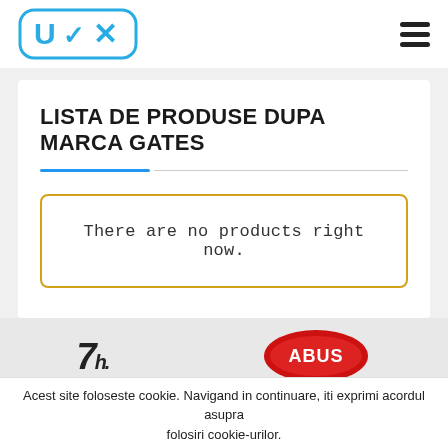[Figure (logo): UVX logo in blue with checkmark inside a rounded rectangle border]
[Figure (other): Hamburger menu icon with three horizontal bars]
LISTA DE PRODUSE DUPA MARCA GATES
There are no products right now.
[Figure (logo): Partial brand logo 1 - stylized italic letter mark in black]
[Figure (logo): Partial brand logo 2 - ABUS logo in red oval]
Acest site foloseste cookie. Navigand in continuare, iti exprimi acordul asupra folosiri cookie-urilor.